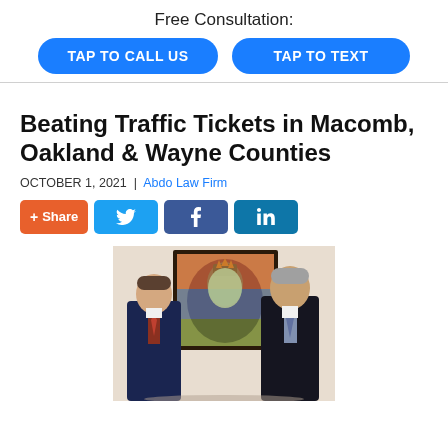Free Consultation:
TAP TO CALL US
TAP TO TEXT
Beating Traffic Tickets in Macomb, Oakland & Wayne Counties
OCTOBER 1, 2021 | Abdo Law Firm
+ Share (social share buttons: Twitter, Facebook, LinkedIn)
[Figure (photo): Two men in suits standing in front of a colorful painting of the Statue of Liberty]